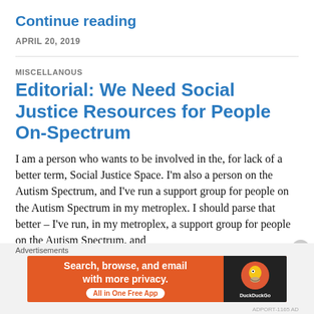Continue reading
APRIL 20, 2019
MISCELLANOUS
Editorial: We Need Social Justice Resources for People On-Spectrum
I am a person who wants to be involved in the, for lack of a better term, Social Justice Space. I'm also a person on the Autism Spectrum, and I've run a support group for people on the Autism Spectrum in my metroplex. I should parse that better – I've run, in my metroplex, a support group for people on the Autism Spectrum, and I've had friends here who are on the spectrum, and…
Advertisements
[Figure (infographic): DuckDuckGo advertisement banner: orange background with text 'Search, browse, and email with more privacy. All in One Free App' and DuckDuckGo logo on dark right panel]